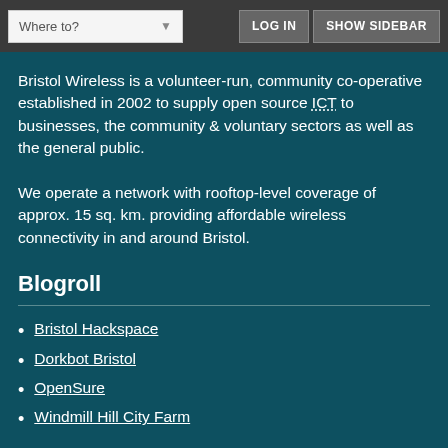Where to? | LOG IN | SHOW SIDEBAR
Bristol Wireless is a volunteer-run, community co-operative established in 2002 to supply open source ICT to businesses, the community & voluntary sectors as well as the general public.
We operate a network with rooftop-level coverage of approx. 15 sq. km. providing affordable wireless connectivity in and around Bristol.
Blogroll
Bristol Hackspace
Dorkbot Bristol
OpenSure
Windmill Hill City Farm